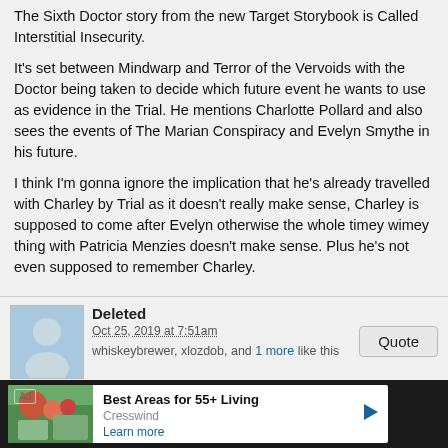The Sixth Doctor story from the new Target Storybook is Called Interstitial Insecurity.
It's set between Mindwarp and Terror of the Vervoids with the Doctor being taken to decide which future event he wants to use as evidence in the Trial. He mentions Charlotte Pollard and also sees the events of The Marian Conspiracy and Evelyn Smythe in his future.
I think I'm gonna ignore the implication that he's already travelled with Charley by Trial as it doesn't really make sense, Charley is supposed to come after Evelyn otherwise the whole timey wimey thing with Patricia Menzies doesn't make sense. Plus he's not even supposed to remember Charley.
Deleted
Oct 25, 2019 at 7:51am
whiskeybrewer, xlozdob, and 1 more like this
themeddlingmonk said:
The Sixth Doctor story from the new Target Storybook is Called Interstitial Insecurity.

It's set between Mindwarp and Terror of the Vervoids with the Doctor being taken to decide which future event he wants to use as evidence in the Trial. He mentions Charlotte Pollard and also sees
Ad Best Areas for 55+ Living Cresswind Learn more